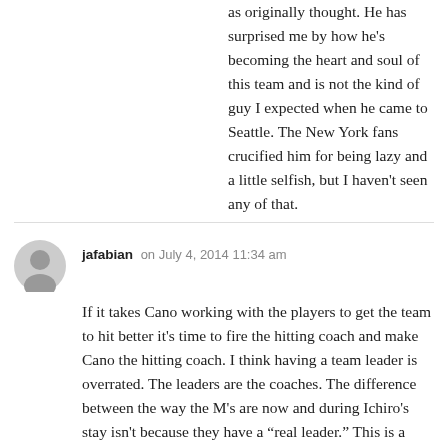as originally thought. He has surprised me by how he's becoming the heart and soul of this team and is not the kind of guy I expected when he came to Seattle. The New York fans crucified him for being lazy and a little selfish, but I haven't seen any of that.
jafabian on July 4, 2014 11:34 am
If it takes Cano working with the players to get the team to hit better it's time to fire the hitting coach and make Cano the hitting coach. I think having a team leader is overrated. The leaders are the coaches. The difference between the way the M's are now and during Ichiro's stay isn't because they have a “real leader.” This is a much